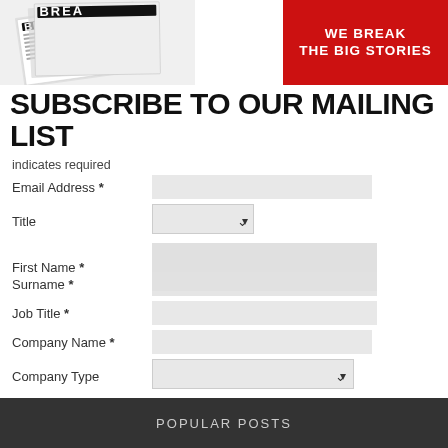[Figure (illustration): Newspaper graphic with 'BREA...' headline text visible, angled, black and white with grey tones]
[Figure (infographic): Red banner box with white bold text: WE BREAK THE BIG STORIES]
SUBSCRIBE TO OUR MAILING LIST
indicates required
Email Address *
Title
First Name *
Surname *
Job Title *
Company Name *
Company Type
SUBSCRIBE
POPULAR POSTS